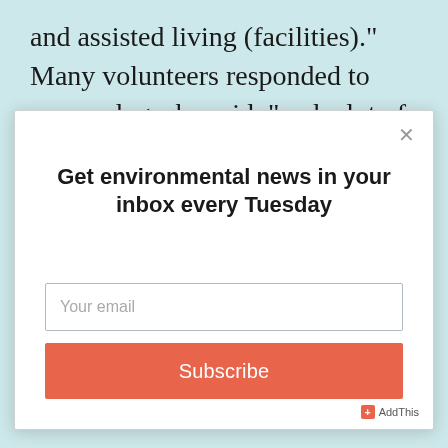and assisted living (facilities)." Many volunteers responded to rescue dogs, he said, "and a lot of nursing homes
[Figure (screenshot): A modal popup dialog with a close button (×), a bold headline 'Get environmental news in your inbox every Tuesday', an email input field with placeholder 'Your email', and an orange 'Subscribe' button. An AddThis badge appears in the bottom-right corner.]